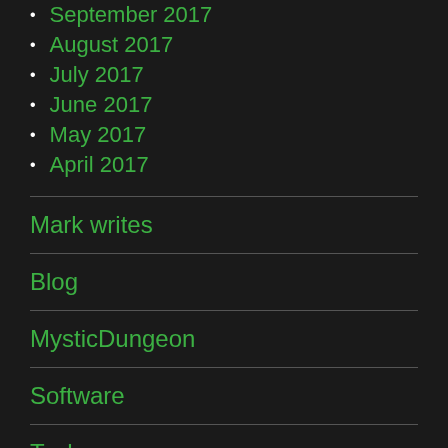September 2017
August 2017
July 2017
June 2017
May 2017
April 2017
Mark writes
Blog
MysticDungeon
Software
Tech